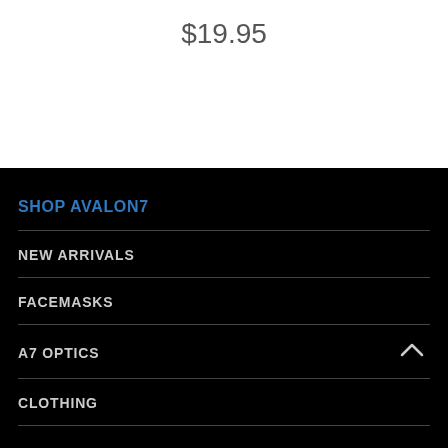$19.95
SHOP AVALON7
NEW ARRIVALS
FACEMASKS
A7 OPTICS
CLOTHING